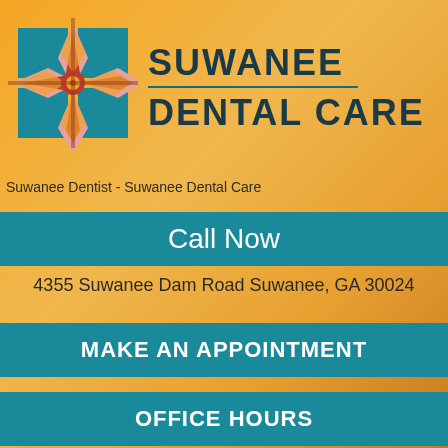[Figure (logo): Suwanee Dental Care logo - compass/star geometric design with teal, red, pink and gold colors]
SUWANEE DENTAL CARE
Suwanee Dentist - Suwanee Dental Care
Call Now
4355 Suwanee Dam Road Suwanee, GA 30024
MAKE AN APPOINTMENT
OFFICE HOURS